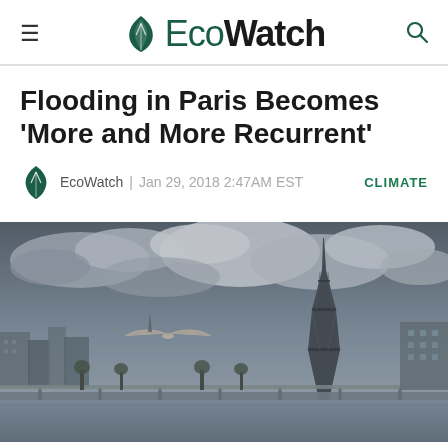EcoWatch
Flooding in Paris Becomes ‘More and More Recurrent’
EcoWatch | Jan 29, 2018 2:47AM EST   CLIMATE
[Figure (photo): Overcast stormy sky over Paris with the Eiffel Tower visible on the right, a bridge over the Seine river, buildings along the riverbank, and a seagull in flight in the center of the frame.]